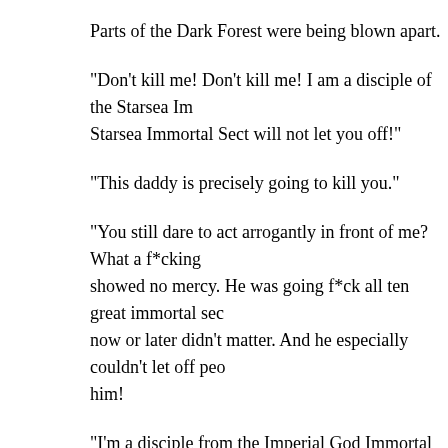Parts of the Dark Forest were being blown apart.
“Don’t kill me! Don’t kill me! I am a disciple of the Starsea Imm Starsea Immortal Sect will not let you off!”
“This daddy is precisely going to kill you.”
“You still dare to act arrogantly in front of me? What a f*cking showed no mercy. He was going f*ck all ten great immortal sec now or later didn’t matter. And he especially couldn’t let off peo him!
“I’m a disciple from the Imperial God Immortal Sect…”
“Die!”
“Grandpa Luo, please spare me! I will definitely not let anyone Spare my dog’s life! The outside world will definitely not be ab here!”